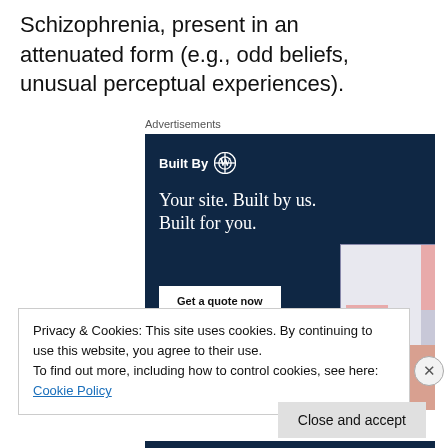Schizophrenia, present in an attenuated form (e.g., odd beliefs, unusual perceptual experiences).
Advertisements
[Figure (illustration): WordPress advertisement banner with dark navy background showing 'Built By WordPress' logo, headline 'Your site. Built by us. Built for you.' and a 'Get a quote now' button, with website mockup images on the right side.]
Privacy & Cookies: This site uses cookies. By continuing to use this website, you agree to their use.
To find out more, including how to control cookies, see here: Cookie Policy
Close and accept